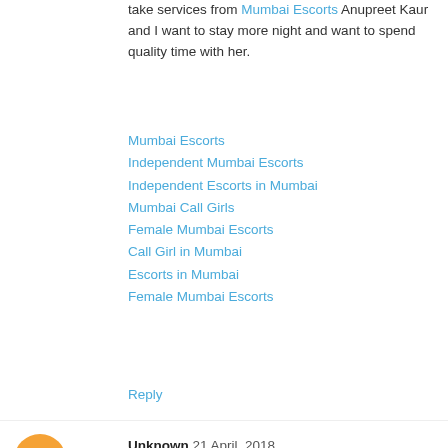take services from Mumbai Escorts Anupreet Kaur and I want to stay more night and want to spend quality time with her.
Mumbai Escorts
Independent Mumbai Escorts
Independent Escorts in Mumbai
Mumbai Call Girls
Female Mumbai Escorts
Call Girl in Mumbai
Escorts in Mumbai
Female Mumbai Escorts
Reply
Unknown 21 April, 2018
book delhi escort
book independent escort in Delhi
book escorts in Delhi
Reply